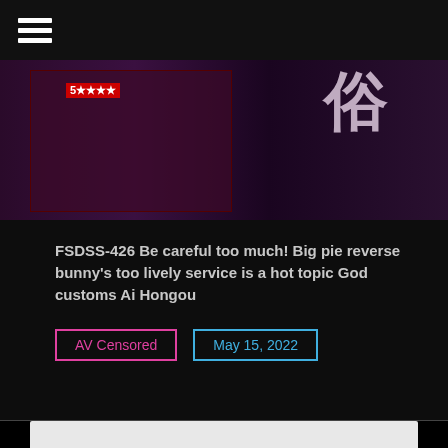☰ (hamburger menu icon)
[Figure (photo): Collage banner image with Japanese text characters and adult content cover art thumbnails against a dark purple/black background]
FSDSS-426 Be careful too much! Big pie reverse bunny's too lively service is a hot topic God customs Ai Hongou
AV Censored
May 15, 2022
[Figure (photo): Light gray/white content area preview, partially visible at bottom of page]